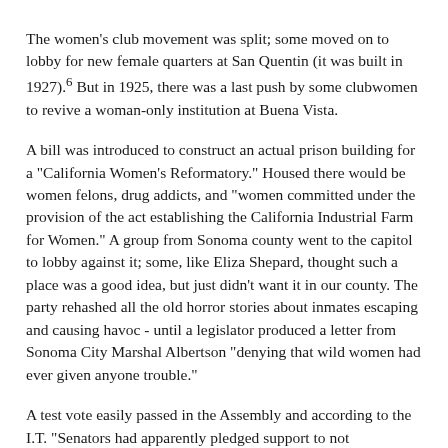The women's club movement was split; some moved on to lobby for new female quarters at San Quentin (it was built in 1927).⁶ But in 1925, there was a last push by some clubwomen to revive a woman-only institution at Buena Vista.
A bill was introduced to construct an actual prison building for a "California Women's Reformatory." Housed there would be women felons, drug addicts, and "women committed under the provision of the act establishing the California Industrial Farm for Women." A group from Sonoma county went to the capitol to lobby against it; some, like Eliza Shepard, thought such a place was a good idea, but just didn't want it in our county. The party rehashed all the old horror stories about inmates escaping and causing havoc - until a legislator produced a letter from Sonoma City Marshal Albertson "denying that wild women had ever given anyone trouble."
A test vote easily passed in the Assembly and according to the I.T. "Senators had apparently pledged support to not